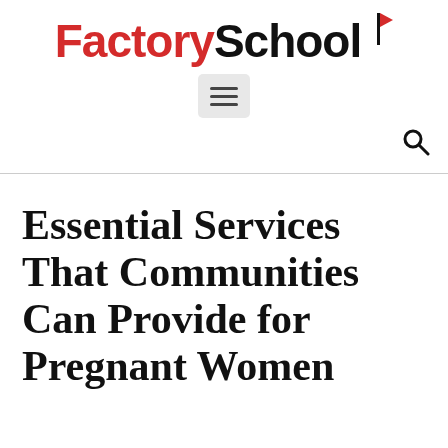FactorySchool
Essential Services That Communities Can Provide for Pregnant Women